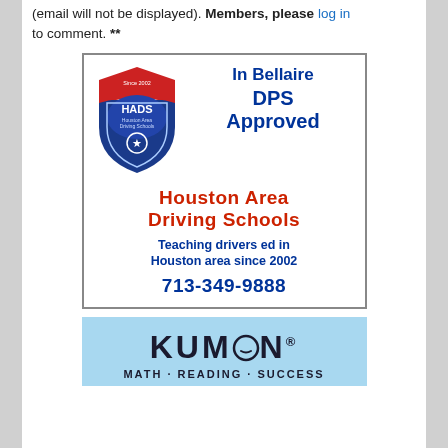(email will not be displayed). Members, please log in to comment. **
[Figure (advertisement): Houston Area Driving Schools advertisement. Shield logo with HADS, Since 2002, Houston Area Driving Schools text. In Bellaire, DPS Approved, Houston Area Driving Schools, Teaching drivers ed in Houston area since 2002, 713-349-9888.]
[Figure (logo): Kumon Math Reading Success logo on light blue background]